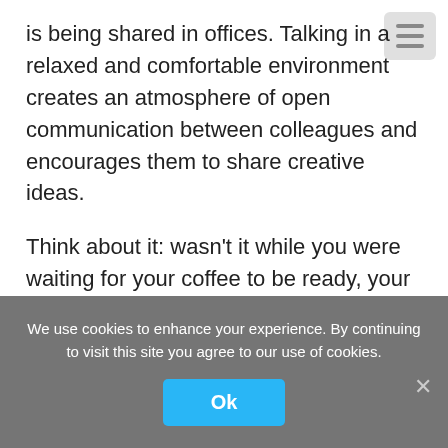is being shared in offices. Talking in a relaxed and comfortable environment creates an atmosphere of open communication between colleagues and encourages them to share creative ideas.
Think about it: wasn't it while you were waiting for your coffee to be ready, your colleague started talking about the project he had been working on and explained how he managed to successfully deliver the project objectives? And do you remember the coffee talk you had with that new hire? You shared some valuable tips and experiences that could help him improve his sales
We use cookies to enhance your experience. By continuing to visit this site you agree to our use of cookies.